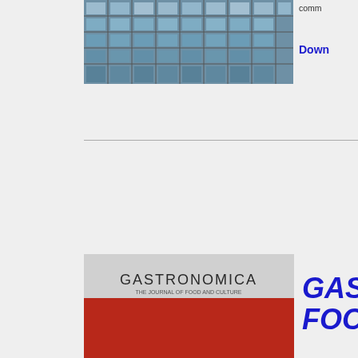[Figure (photo): Architectural building facade with grid-like windows, partially visible at top]
comm
Down
[Figure (photo): Gastronomica magazine cover showing a pastry/cake with dark topping on red background, with 'GASTRONOMICA' text at top]
GAST FOOD
[Figure (photo): Window with geometric circular leaded glass panes, baked goods visible in foreground including a bundt cake]
Alsatian cakes in th holidays, fa history, lore butter and recipe)